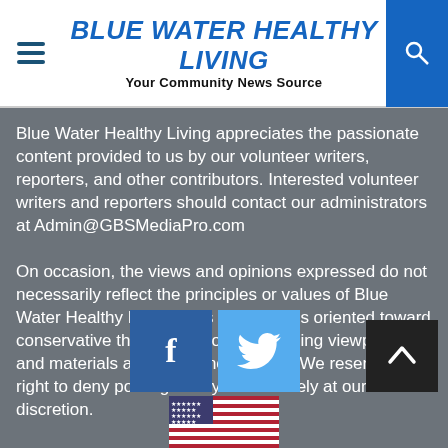BLUE WATER HEALTHY LIVING
Your Community News Source
Blue Water Healthy Living appreciates the passionate content provided to us by our volunteer writers, reporters, and other contributors. Interested volunteer writers and reporters should contact our administrators at Admin@GBSMediaPro.com
On occasion, the views and opinions expressed do not necessarily reflect the principles or values of Blue Water Healthy Living. This magazine is oriented toward conservative thinking, although opposing viewpoints and materials are sometimes posted. We reserve the right to deny posting of any article solely at our discretion.
[Figure (other): Facebook and Twitter social media icon buttons, and a back-to-top arrow button]
[Figure (other): American flag icon at the bottom of the page]